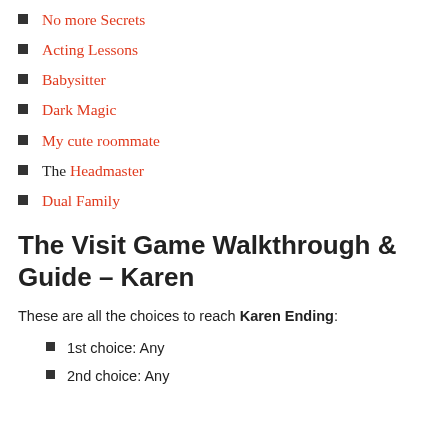No more Secrets
Acting Lessons
Babysitter
Dark Magic
My cute roommate
The Headmaster
Dual Family
The Visit Game Walkthrough & Guide – Karen
These are all the choices to reach Karen Ending:
1st choice: Any
2nd choice: Any